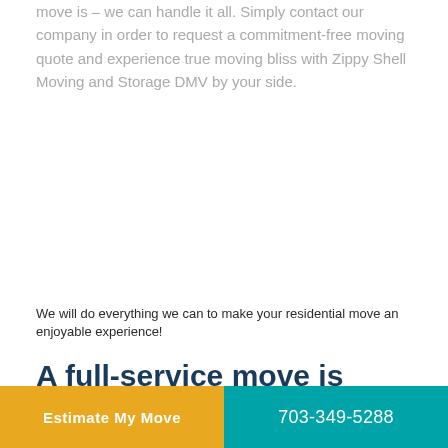move is – we can handle it all. Simply contact our company in order to request a commitment-free moving quote and experience true moving bliss with Zippy Shell Moving and Storage DMV by your side.
We will do everything we can to make your residential move an enjoyable experience!
A full-service move is within your reach with Zippy Shell Moving and Storage
Estimate My Move
703-349-5288